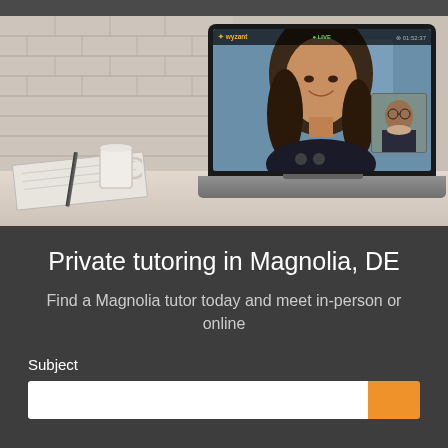[Figure (photo): A laptop on a desk showing a live video tutoring session with two women on screen. A coffee mug, notebook, and pen are visible on the white desk. Brick wall background.]
Private tutoring in Magnolia, DE
Find a Magnolia tutor today and meet in-person or online
Subject